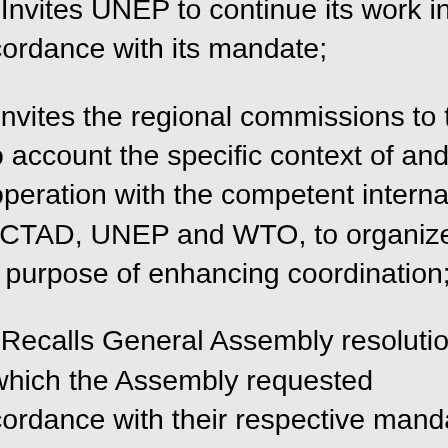(e) Invites UNEP to continue its work in accordance with its mandate;
(f) Invites the regional commissions to take into account the specific context of and in cooperation with the competent international UNCTAD, UNEP and WTO, to organize, for the purpose of enhancing coordination;
(g) Recalls General Assembly resolution in which the Assembly requested in accordance with their respective mandates, in close cooperation with other competent and the regional commissions, to address more comprehensively, and to report, through the Economic and Social Council and at the session in 1997 on the concrete progress on trade and environment;
(h) Invites UNCTAD and UNEP to continue work on trade, environment and sustainable in accordance with chapter I, paragraph of session 5/ and paragraph 14 of Assembly December 1995;
(i) Takes note of the ongoing analysis